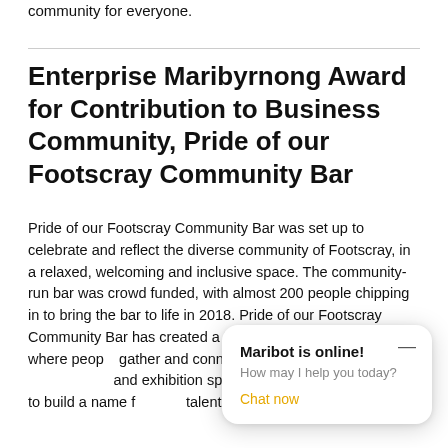community for everyone.
Enterprise Maribyrnong Award for Contribution to Business Community, Pride of our Footscray Community Bar
Pride of our Footscray Community Bar was set up to celebrate and reflect the diverse community of Footscray, in a relaxed, welcoming and inclusive space. The community-run bar was crowd funded, with almost 200 people chipping in to bring the bar to life in 2018. Pride of our Footscray Community Bar has created a LGBTQIA friendly space where people gather and connect. The and exhibition space, providing a place to build a name for local talent.
[Figure (screenshot): Chatbot popup: 'Maribot is online! How may I help you today? Chat now']